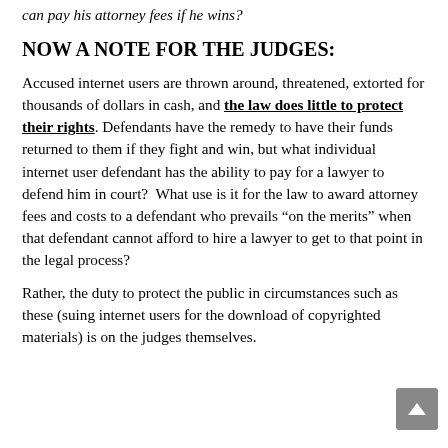can pay his attorney fees if he wins?
NOW A NOTE FOR THE JUDGES:
Accused internet users are thrown around, threatened, extorted for thousands of dollars in cash, and the law does little to protect their rights. Defendants have the remedy to have their funds returned to them if they fight and win, but what individual internet user defendant has the ability to pay for a lawyer to defend him in court? What use is it for the law to award attorney fees and costs to a defendant who prevails “on the merits” when that defendant cannot afford to hire a lawyer to get to that point in the legal process?
Rather, the duty to protect the public in circumstances such as these (suing internet users for the download of copyrighted materials) is on the judges themselves.